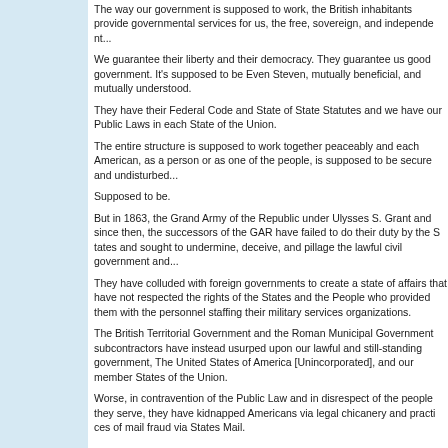The way our government is supposed to work, the British inhabitants provide governmental services for us, the free, sovereign, and independent people...
We guarantee their liberty and their democracy. They guarantee us good government. It's supposed to be Even Steven, mutually beneficial, and mutually understood.
They have their Federal Code and State of State Statutes and we have our Public Laws in each State of the Union.
The entire structure is supposed to work together peaceably and each American, as a person or as one of the people, is supposed to be secure and undisturbed...
Supposed to be.
But in 1863, the Grand Army of the Republic under Ulysses S. Grant and since then, the successors of the GAR have failed to do their duty by the States and sought to undermine, deceive, and pillage the lawful civil government and...
They have colluded with foreign governments to create a state of affairs that have not respected the rights of the States and the People who provided them with the personnel staffing their military services organizations.
The British Territorial Government and the Roman Municipal Government subcontractors have instead usurped upon our lawful and still-standing government, The United States of America [Unincorporated], and our member States of the Union.
Worse, in contravention of the Public Law and in disrespect of the people they serve, they have kidnapped Americans via legal chicanery and practices of mail fraud via States Mail.